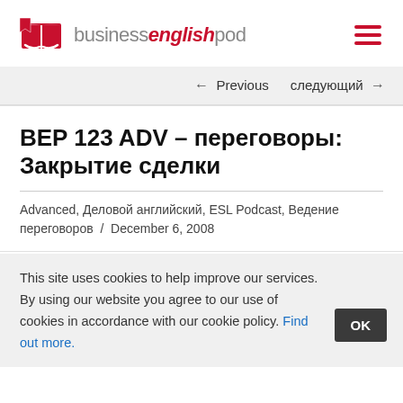businessenglishpod
← Previous   следующий →
BEP 123 ADV – переговоры: Закрытие сделки
Advanced, Деловой английский, ESL Podcast, Ведение переговоров / December 6, 2008
This site uses cookies to help improve our services. By using our website you agree to our use of cookies in accordance with our cookie policy. Find out more.